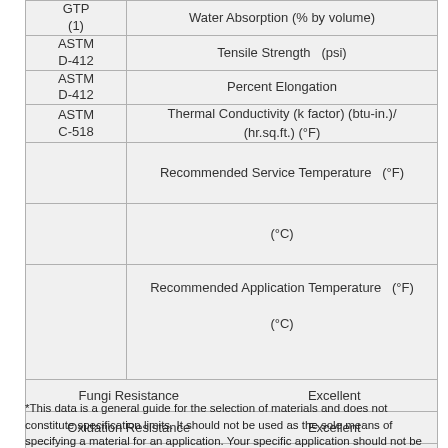| Test Method | Property |
| --- | --- |
| GTP (1) | Water Absorption (% by volume) |
| ASTM D-412 | Tensile Strength   (psi) |
| ASTM D-412 | Percent Elongation |
| ASTM C-518 | Thermal Conductivity (k factor) (btu-in.)/ (hr.sq.ft.) (°F) |
|  | Recommended Service Temperature  (°F) |
|  | (°C) |
|  | Recommended Application Temperature  (°F)

(°C) |
| Fungi Resistance | Excellent |
| Oxidation Resistance | Excellent |
| Weather Resistance | Excellent |
*This data is a general guide for the selection of materials and does not constitute specification limits. It should not be used as the sole means of specifying a material for an application. Your specific application should not be undertaken without independent study.